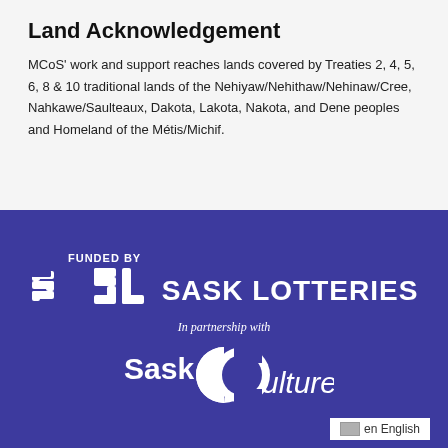Land Acknowledgement
MCoS’ work and support reaches lands covered by Treaties 2, 4, 5, 6, 8 & 10 traditional lands of the Nehiyaw/Nehithaw/Nehinaw/Cree, Nahkawe/Saulteaux, Dakota, Lakota, Nakota, and Dene peoples and Homeland of the Métis/Michif.
[Figure (logo): Sask Lotteries logo with 'FUNDED BY' label above and 'In partnership with SaskCulture' below, white on dark blue/purple background]
en English